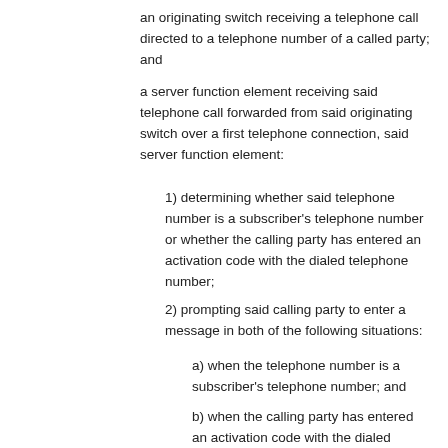an originating switch receiving a telephone call directed to a telephone number of a called party; and
a server function element receiving said telephone call forwarded from said originating switch over a first telephone connection, said server function element:
1) determining whether said telephone number is a subscriber's telephone number or whether the calling party has entered an activation code with the dialed telephone number;
2) prompting said calling party to enter a message in both of the following situations:
a) when the telephone number is a subscriber's telephone number; and
b) when the calling party has entered an activation code with the dialed telephone number;
3) establishing a second telephone connection to said called party,
4) sending said message to said called party over said